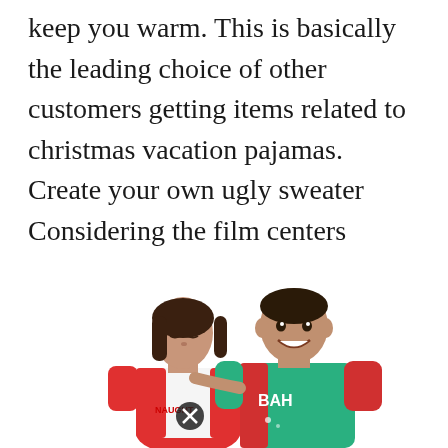keep you warm. This is basically the leading choice of other customers getting items related to christmas vacation pajamas. Create your own ugly sweater Considering the film centers around a christmas vacation gone awry, the kids will get a kick out of wearing these pjs during family time. However, travel will come with restrictions.
[Figure (photo): A couple wearing matching Christmas pajamas — a woman in a red and white 'Naughty' top and a man in a green and white 'BAH' top, smiling together.]